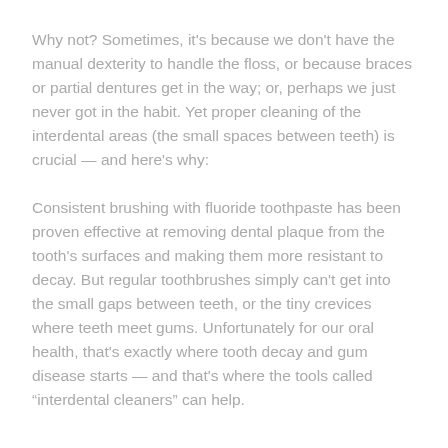Why not? Sometimes, it's because we don't have the manual dexterity to handle the floss, or because braces or partial dentures get in the way; or, perhaps we just never got in the habit. Yet proper cleaning of the interdental areas (the small spaces between teeth) is crucial — and here's why:
Consistent brushing with fluoride toothpaste has been proven effective at removing dental plaque from the tooth's surfaces and making them more resistant to decay. But regular toothbrushes simply can't get into the small gaps between teeth, or the tiny crevices where teeth meet gums. Unfortunately for our oral health, that's exactly where tooth decay and gum disease starts — and that's where the tools called “interdental cleaners” can help.